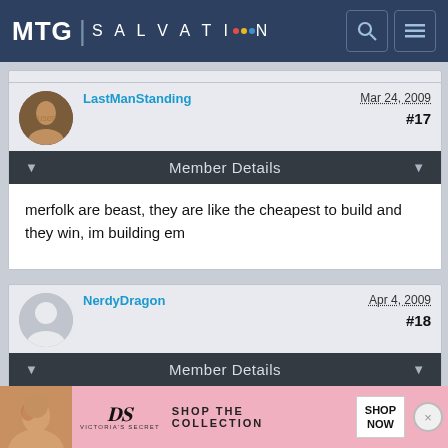MTG SALVATION
LastManStanding   Mar 24, 2009   #17
Member Details
merfolk are beast, they are like the cheapest to build and they win, im building em
NerdyDragon   Apr 4, 2009   #18
Member Details
[Figure (screenshot): Victoria's Secret advertisement banner at bottom of page]